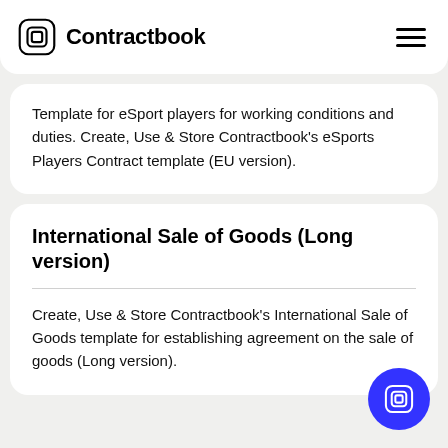Contractbook
Template for eSport players for working conditions and duties. Create, Use & Store Contractbook's eSports Players Contract template (EU version).
International Sale of Goods (Long version)
Create, Use & Store Contractbook's International Sale of Goods template for establishing agreement on the sale of goods (Long version).